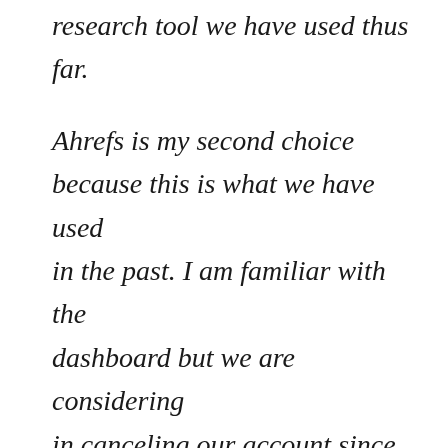research tool we have used thus far.

Ahrefs is my second choice because this is what we have used in the past. I am familiar with the dashboard but we are considering in canceling our account since the inaccuracy is getting out of control and the only task we use it for was keyword building